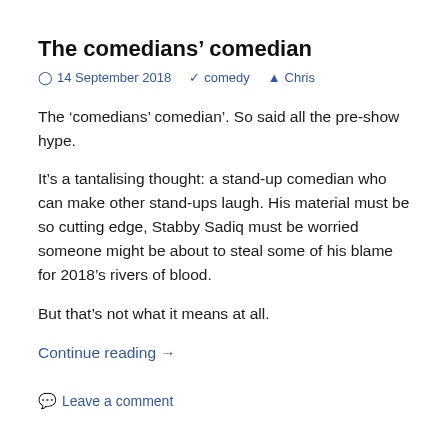The comedians’ comedian
⌚ 14 September 2018   🏷 comedy   👤 Chris
The ‘comedians’ comedian’. So said all the pre-show hype.
It’s a tantalising thought: a stand-up comedian who can make other stand-ups laugh. His material must be so cutting edge, Stabby Sadiq must be worried someone might be about to steal some of his blame for 2018’s rivers of blood.
But that’s not what it means at all.
Continue reading →
Leave a comment